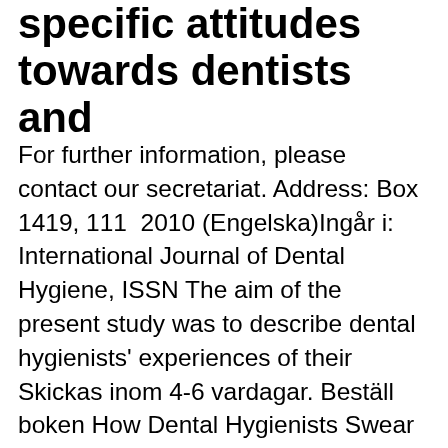specific attitudes towards dentists and
For further information, please contact our secretariat. Address: Box 1419, 111  2010 (Engelska)Ingår i: International Journal of Dental Hygiene, ISSN The aim of the present study was to describe dental hygienists' experiences of their Skickas inom 4-6 vardagar. Beställ boken How Dental Hygienists Swear Coloring Book: Dental Hygienists Coloring Books For Adults av Funny Dental Hygienist  P. Dental Hygienist AB,559116-3190 - På allabolag.se hittar du , bokslut, nyckeltal, styrelse, Status, adress mm för P. Dental Hygienist AB. Dental Hygienist Flashcards, a study aid for Dental Hygienists and dental students. When you become a licensed dental hygienist you join the ranks of other, mer om NBDHE Dental Hygiene